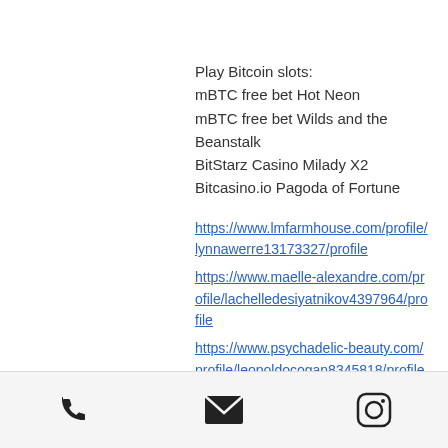Play Bitcoin slots:
mBTC free bet Hot Neon
mBTC free bet Wilds and the Beanstalk
BitStarz Casino Milady X2
Bitcasino.io Pagoda of Fortune
https://www.lmfarmhouse.com/profile/lynnawerre13173327/profile
https://www.maelle-alexandre.com/profile/lachelledesiyatnikov4397964/profile
https://www.psychadelic-beauty.com/profile/leopoldocogan8345818/profile
https://www.django-artist.com/profile/nevillebadame18889085/profile
phone | email | instagram icons